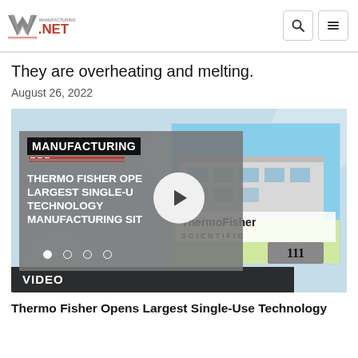Manufacturing.net
They are overheating and melting.
August 26, 2022
[Figure (screenshot): Video thumbnail showing Manufacturing Daily logo and 'THERMO FISHER OPENS LARGEST SINGLE-USE TECHNOLOGY MANUFACTURING SITE' text over grey card, with Thermo Fisher Scientific building and address 111 on right, play button in center, navigation dots, and VIDEO label bar at bottom.]
Thermo Fisher Opens Largest Single-Use Technology